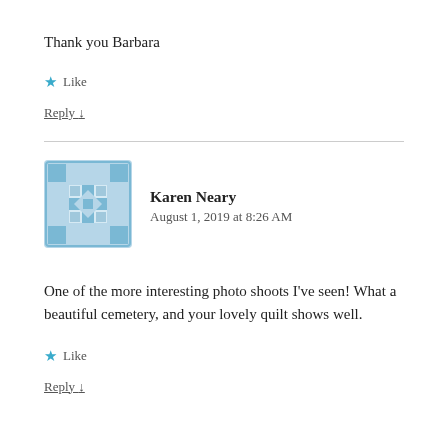Thank you Barbara
★ Like
Reply ↓
[Figure (illustration): Blue decorative avatar icon with a geometric quilt-like pattern]
Karen Neary
August 1, 2019 at 8:26 AM
One of the more interesting photo shoots I've seen! What a beautiful cemetery, and your lovely quilt shows well.
★ Like
Reply ↓